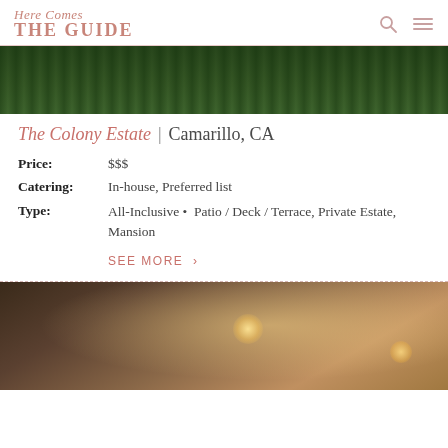Here Comes THE GUIDE
[Figure (photo): Aerial view of lush green vineyard or garden with trees and lavender rows]
The Colony Estate | Camarillo, CA
Price: $$$
Catering: In-house, Preferred list
Type: All-Inclusive • Patio / Deck / Terrace, Private Estate, Mansion
SEE MORE >
[Figure (photo): Interior venue photo showing illuminated ceiling with architectural details and warm lighting fixtures]